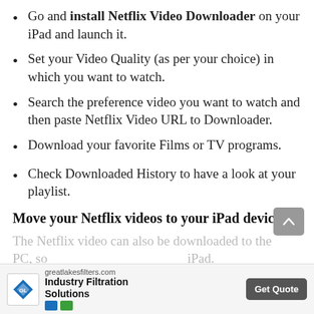Go and install Netflix Video Downloader on your iPad and launch it.
Set your Video Quality (as per your choice) in which you want to watch.
Search the preference video you want to watch and then paste Netflix Video URL to Downloader.
Download your favorite Films or TV programs.
Check Downloaded History to have a look at your playlist.
Move your Netflix videos to your iPad device:
The Netflix video can also be downloaded to the PC, so... iPad.